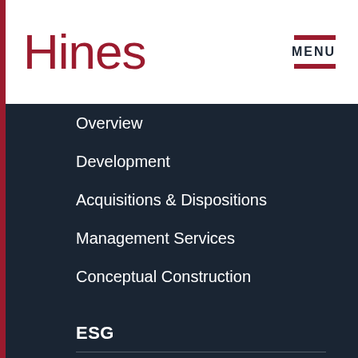Hines
Overview
Development
Acquisitions & Dispositions
Management Services
Conceptual Construction
ESG
Overview
A Plan for Our Planet
Environmental Stewardship
Social: Our People & Communities
Governance & Responsible Investment
Reports